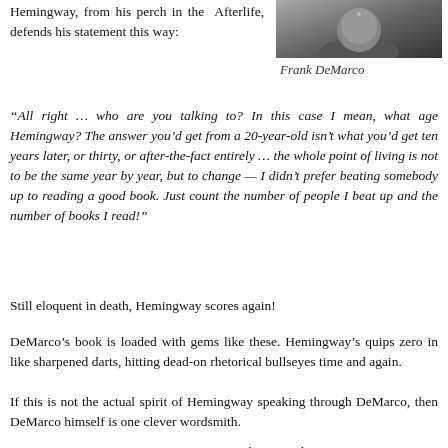Hemingway, from his perch in the Afterlife, defends his statement this way:
[Figure (photo): Portrait photo of Frank DeMarco, partially visible at top of page, dark clothing]
Frank DeMarco
“All right … who are you talking to? In this case I mean, what age Hemingway? The answer you’d get from a 20-year-old isn’t what you’d get ten years later, or thirty, or after-the-fact entirely … the whole point of living is not to be the same year by year, but to change — I didn’t prefer beating somebody up to reading a good book. Just count the number of people I beat up and the number of books I read!”
Still eloquent in death, Hemingway scores again!
DeMarco’s book is loaded with gems like these. Hemingway’s quips zero in like sharpened darts, hitting dead-on rhetorical bullseyes time and again.
If this is not the actual spirit of Hemingway speaking through DeMarco, then DeMarco himself is one clever wordsmith.
But wait a minute — DeMarco cautions us that just who is actually speaking through him is more complicated than